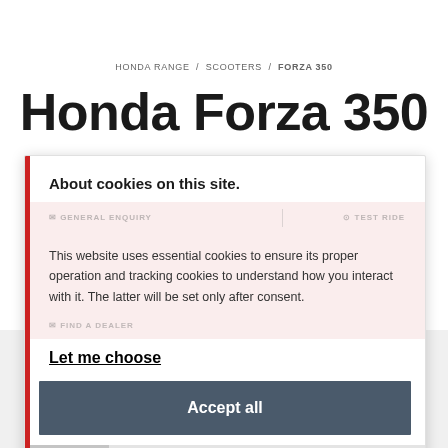HONDA RANGE / SCOOTERS / FORZA 350
Honda Forza 350
About cookies on this site.
This website uses essential cookies to ensure its proper operation and tracking cookies to understand how you interact with it. The latter will be set only after consent.
Let me choose
Accept all
Reject all